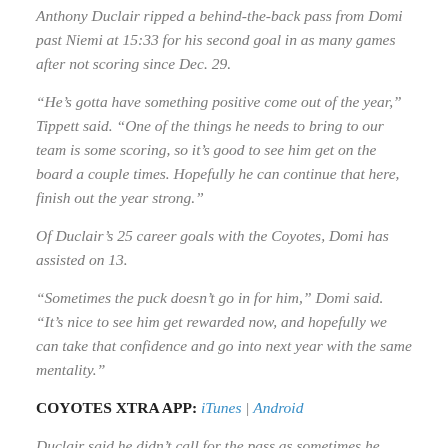Anthony Duclair ripped a behind-the-back pass from Domi past Niemi at 15:33 for his second goal in as many games after not scoring since Dec. 29.
“He’s gotta have something positive come out of the year,” Tippett said. “One of the things he needs to bring to our team is some scoring, so it’s good to see him get on the board a couple times. Hopefully he can continue that here, finish out the year strong.”
Of Duclair’s 25 career goals with the Coyotes, Domi has assisted on 13.
“Sometimes the puck doesn’t go in for him,” Domi said. “It’s nice to see him get rewarded now, and hopefully we can take that confidence and go into next year with the same mentality.”
COYOTES XTRA APP: iTunes | Android
Duclair said he didn’t call for the pass as sometimes he